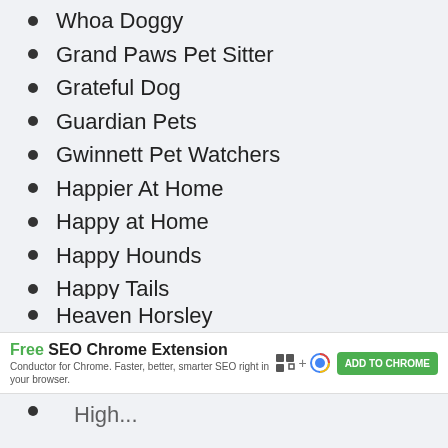Whoa Doggy
Grand Paws Pet Sitter
Grateful Dog
Guardian Pets
Gwinnett Pet Watchers
Happier At Home
Happy at Home
Happy Hounds
Happy Tails
Healthy Paws Veterinary
Heart 2 Heart
Hearts And Paws
Heaven Horsley
Free SEO Chrome Extension — Conductor for Chrome. Faster, better, smarter SEO right in your browser. ADD TO CHROME